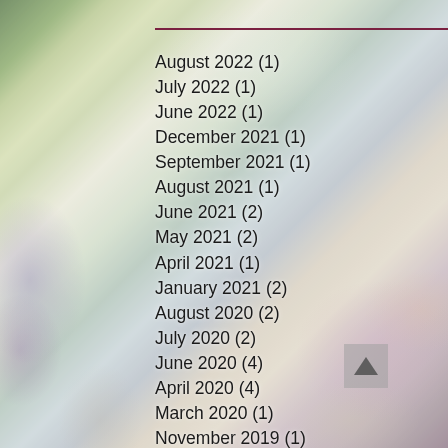August 2022 (1)
July 2022 (1)
June 2022 (1)
December 2021 (1)
September 2021 (1)
August 2021 (1)
June 2021 (2)
May 2021 (2)
April 2021 (1)
January 2021 (2)
August 2020 (2)
July 2020 (2)
June 2020 (4)
April 2020 (4)
March 2020 (1)
November 2019 (1)
October 2019 (2)
August 2019 (3)
June 2019 (2)
May 2019 (3)
April 2019 (1)